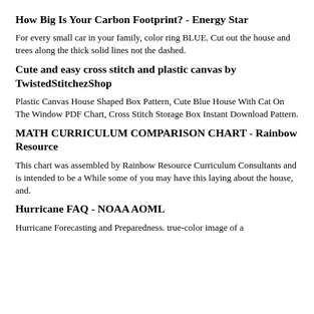How Big Is Your Carbon Footprint? - Energy Star
For every small car in your family, color ring BLUE. Cut out the house and trees along the thick solid lines not the dashed.
Cute and easy cross stitch and plastic canvas by TwistedStitchezShop
Plastic Canvas House Shaped Box Pattern, Cute Blue House With Cat On The Window PDF Chart, Cross Stitch Storage Box Instant Download Pattern.
MATH CURRICULUM COMPARISON CHART - Rainbow Resource
This chart was assembled by Rainbow Resource Curriculum Consultants and is intended to be a While some of you may have this laying about the house, and.
Hurricane FAQ - NOAA AOML
Hurricane Forecasting and Preparedness. true-color image of a